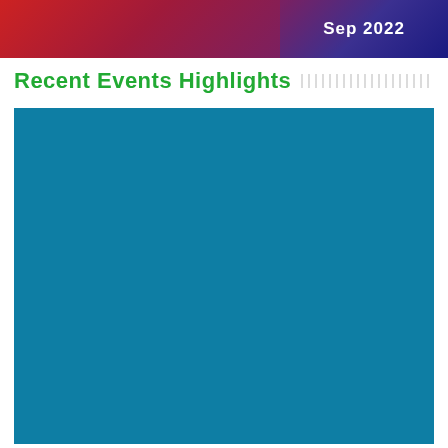Sep 2022
Recent Events Highlights
[Figure (other): Large teal/blue colored rectangular block filling the lower portion of the page, appears to be a placeholder or image area for recent events highlights content.]